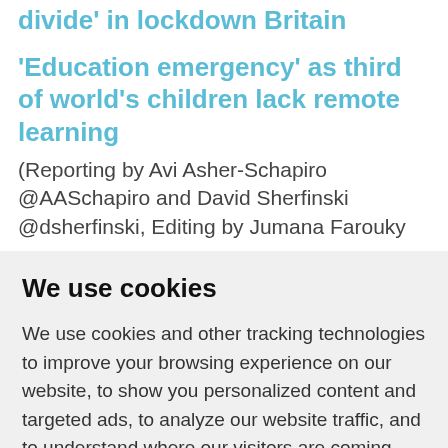divide' in lockdown Britain
'Education emergency' as third of world's children lack remote learning
(Reporting by Avi Asher-Schapiro @AASchapiro and David Sherfinski @dsherfinski, Editing by Jumana Farouky
We use cookies
We use cookies and other tracking technologies to improve your browsing experience on our website, to show you personalized content and targeted ads, to analyze our website traffic, and to understand where our visitors are coming from.